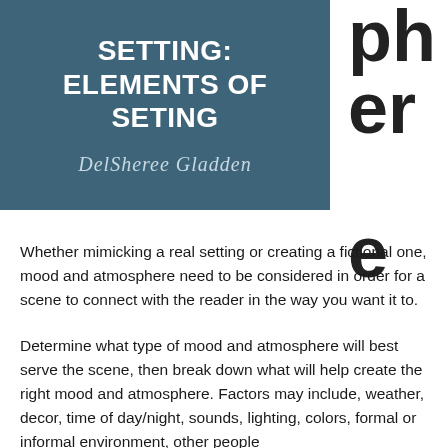[Figure (illustration): Book cover or slide header image with teal/dark blue background. Title text reads 'SETTING: ELEMENTS OF SETING' in bold white font. Author signature 'DelSheree Gladden' in cursive script below title.]
ph
er
e
Whether mimicking a real setting or creating a fictional one, mood and atmosphere need to be considered in order for a scene to connect with the reader in the way you want it to.
Determine what type of mood and atmosphere will best serve the scene, then break down what will help create the right mood and atmosphere. Factors may include, weather, decor, time of day/night, sounds, lighting, colors, formal or informal environment, other people